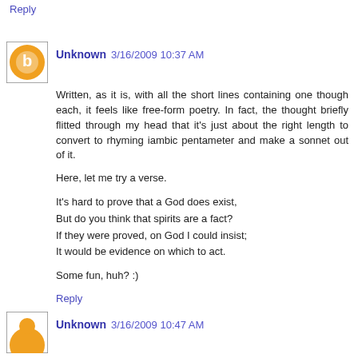Reply
Unknown 3/16/2009 10:37 AM
Written, as it is, with all the short lines containing one though each, it feels like free-form poetry. In fact, the thought briefly flitted through my head that it's just about the right length to convert to rhyming iambic pentameter and make a sonnet out of it.

Here, let me try a verse.

It's hard to prove that a God does exist,
But do you think that spirits are a fact?
If they were proved, on God I could insist;
It would be evidence on which to act.

Some fun, huh? :)
Reply
Unknown 3/16/2009 10:47 AM